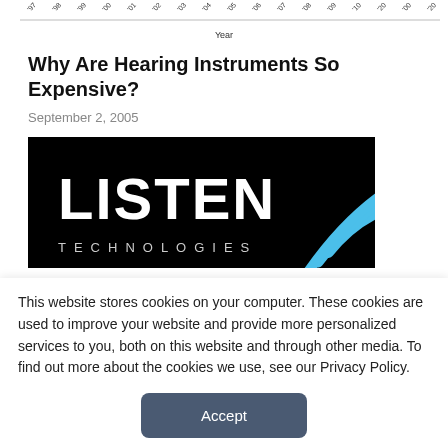[Figure (continuous-plot): Partial view of a chart with year axis along the bottom (x-axis showing years like '97, '98, '99, '00, '01, etc.), partially cut off at the top of the page]
Why Are Hearing Instruments So Expensive?
September 2, 2005
[Figure (logo): Listen Technologies logo on black background — white bold text 'LISTEN' with 'TECHNOLOGIES' below in spaced letters, and a blue arc/wifi signal graphic to the right]
This website stores cookies on your computer. These cookies are used to improve your website and provide more personalized services to you, both on this website and through other media. To find out more about the cookies we use, see our Privacy Policy.